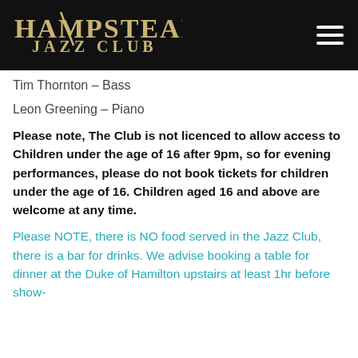HAMPSTEAD JAZZ CLUB
Tim Thornton – Bass
Leon Greening – Piano
Please note, The Club is not licenced to allow access to Children under the age of 16 after 9pm, so for evening performances, please do not book tickets for children under the age of 16. Children aged 16 and above are welcome at any time.
Please NOTE, there is NO food served in the Jazz Club, there is a bar for drinks. We advise booking a table for dinner at the Duke of Hamilton upstairs at least 1hr before show-